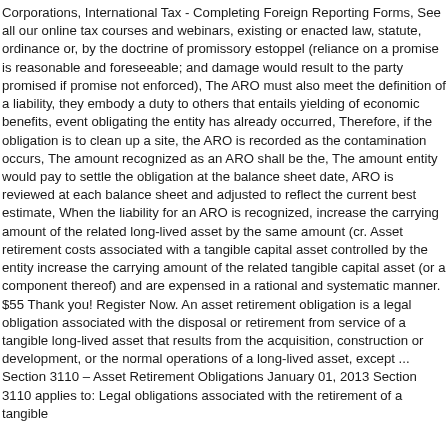Corporations, International Tax - Completing Foreign Reporting Forms, See all our online tax courses and webinars, existing or enacted law, statute, ordinance or, by the doctrine of promissory estoppel (reliance on a promise is reasonable and foreseeable; and damage would result to the party promised if promise not enforced), The ARO must also meet the definition of a liability, they embody a duty to others that entails yielding of economic benefits, event obligating the entity has already occurred, Therefore, if the obligation is to clean up a site, the ARO is recorded as the contamination occurs, The amount recognized as an ARO shall be the, The amount entity would pay to settle the obligation at the balance sheet date, ARO is reviewed at each balance sheet and adjusted to reflect the current best estimate, When the liability for an ARO is recognized, increase the carrying amount of the related long-lived asset by the same amount (cr. Asset retirement costs associated with a tangible capital asset controlled by the entity increase the carrying amount of the related tangible capital asset (or a component thereof) and are expensed in a rational and systematic manner. $55 Thank you! Register Now. An asset retirement obligation is a legal obligation associated with the disposal or retirement from service of a tangible long-lived asset that results from the acquisition, construction or development, or the normal operations of a long-lived asset, except ... Section 3110 – Asset Retirement Obligations January 01, 2013 Section 3110 applies to: Legal obligations associated with the retirement of a tangible